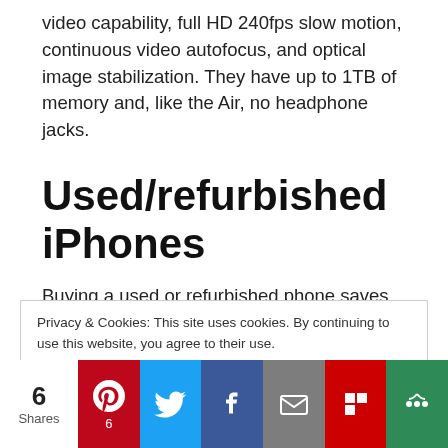video capability, full HD 240fps slow motion, continuous video autofocus, and optical image stabilization. They have up to 1TB of memory and, like the Air, no headphone jacks.
Used/refurbished iPhones
Buying a used or refurbished phone saves
Privacy & Cookies: This site uses cookies. By continuing to use this website, you agree to their use.
To find out more, including how to control cookies, see here:
Cookie Policy
6 Shares